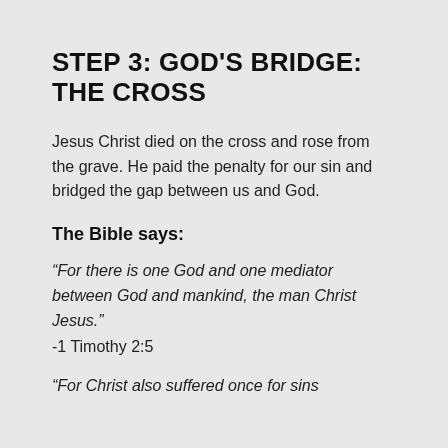STEP 3: GOD'S BRIDGE: THE CROSS
Jesus Christ died on the cross and rose from the grave. He paid the penalty for our sin and bridged the gap between us and God.
The Bible says:
“For there is one God and one mediator between God and mankind, the man Christ Jesus.”
-1 Timothy 2:5
“For Christ also suffered once for sins